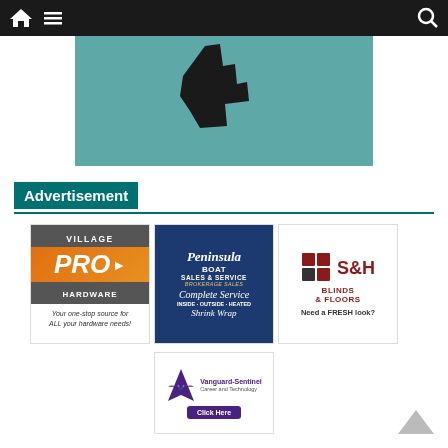Navigation bar with home, menu, and search icons
[Figure (illustration): Teal/cyan colored hero image with a black silhouette of a hand/cursor pointing, partially cropped]
Advertisement
[Figure (logo): Village PRO Hardware ad - dark grey background with 'VILLAGE' text, orange PRO logo with arrow, HARDWARE text, and tagline 'Your one-stop source for ALL your hardware needs!']
[Figure (logo): Peninsula Boat Sales & Service ad - dark blue background with script Peninsula logo, Boat Sales & Service, Brokerage Sales, Complete Service script, Inside-Outside-Heated, Shrink Wrap]
[Figure (logo): S&H Blinds & Floors ad - white background with dark red S&H logo with tile grid icon, 'BLINDS & FLOORS' text, 'Need a FRESH look?' tagline]
[Figure (logo): Vanguard-Sentinel Career and Technology ad - purple V logo with eagle, 'Vanguard-Sentinel Career and Technology' text, purple 'Click Here' button]